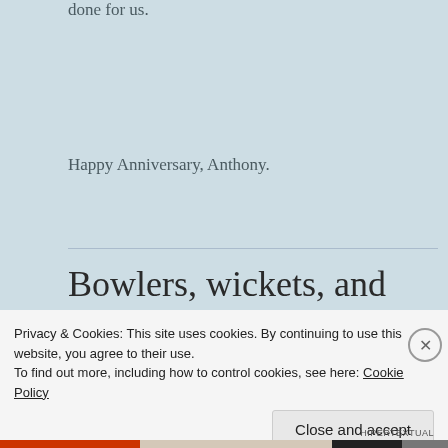done for us.
Happy Anniversary, Anthony.
Bowlers, wickets, and lunch
Privacy & Cookies: This site uses cookies. By continuing to use this website, you agree to their use.
To find out more, including how to control cookies, see here: Cookie Policy
Close and accept